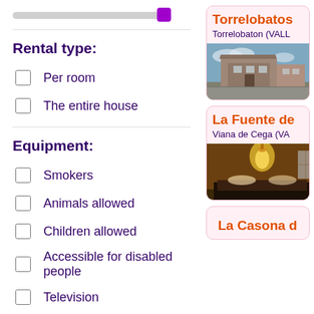[Figure (other): Horizontal slider with purple thumb on the right end]
Rental type:
Per room
The entire house
Equipment:
Smokers
Animals allowed
Children allowed
Accessible for disabled people
Television
Internet
Washing-machine
Garden
Torrelobatos
Torrelobaton (VALL
[Figure (photo): Photo of a building exterior on a street]
La Fuente de
Viana de Cega (VA
[Figure (photo): Photo of an interior room with warm lighting]
La Casona d